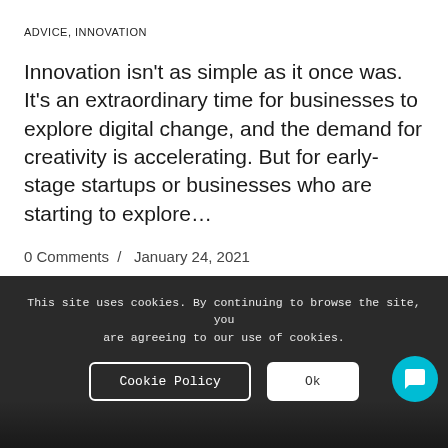ADVICE, INNOVATION
Innovation isn't as simple as it once was.  It's an extraordinary time for businesses to explore digital change, and the demand for creativity is accelerating. But for early-stage startups or businesses who are starting to explore…
0 Comments / January 24, 2021
This site uses cookies. By continuing to browse the site, you are agreeing to our use of cookies.
Cookie Policy  Ok